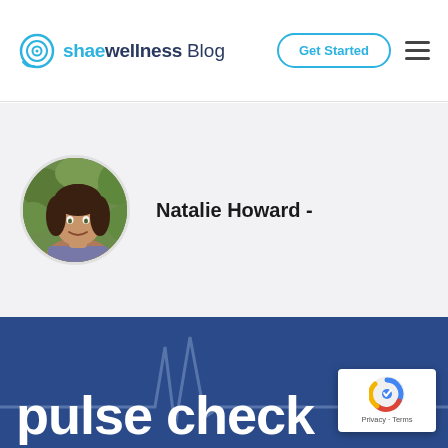[Figure (logo): shae wellness Blog logo with circular target icon in blue]
[Figure (other): Get Started button with rounded border in blue]
[Figure (other): Hamburger menu icon with three horizontal lines]
[Figure (photo): Circular profile photo of Natalie Howard, a smiling woman with long dark hair in front of green foliage]
Natalie Howard -
pulse check
[Figure (other): reCAPTCHA badge with Google reCAPTCHA logo and Privacy - Terms links]